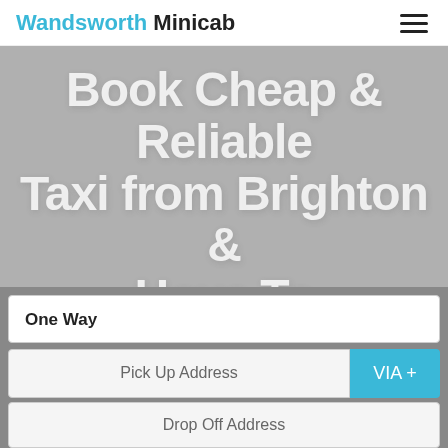Wandsworth Minicab
Book Cheap & Reliable Taxi from Brighton & Hove To CAMBERWELL
Compare Prices and take low fare trip. No booking fees, free cancellation and instant confirmation
One Way
Pick Up Address
VIA +
Drop Off Address